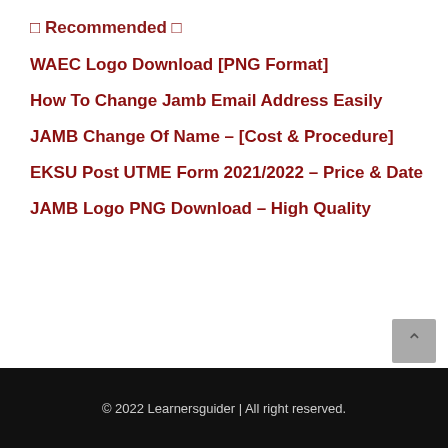⊞ Recommended ⊟
WAEC Logo Download [PNG Format]
How To Change Jamb Email Address Easily
JAMB Change Of Name – [Cost & Procedure]
EKSU Post UTME Form 2021/2022 – Price & Date
JAMB Logo PNG Download – High Quality
© 2022 Learnersguider | All right reserved.